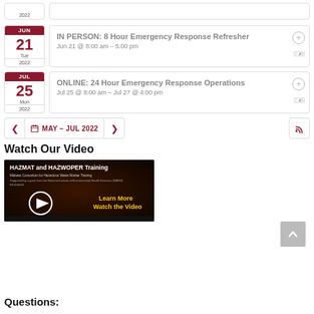Mon 2022 (partial calendar entry at top)
IN PERSON: 8 Hour Emergency Response Refresher | Jun 21 @ 8:00 am – 5:00 pm
ONLINE: 24 Hour Emergency Response Operations | Jul 25 @ 8:00 am – Jul 27 @ 4:00 pm
MAY – JUL 2022 (pagination bar)
Watch Our Video
[Figure (screenshot): Video thumbnail for HAZMAT and HAZWOPER Training – Midwest Consortium for Hazardous Waste Worker Training, with play button and 'Learn More Watch the Video' text]
Questions: